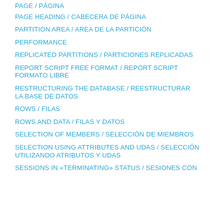PAGE / PÁGINA
PAGE HEADING / CABECERA DE PÁGINA
PARTITION AREA / AREA DE LA PARTICIÓN
PERFORMANCE
REPLICATED PARTITIONS / PARTICIONES REPLICADAS
REPORT SCRIPT FREE FORMAT / REPORT SCRIPT FORMATO LIBRE
RESTRUCTURING THE DATABASE / REESTRUCTURAR LA BASE DE DATOS
ROWS / FILAS
ROWS AND DATA / FILAS Y DATOS
SELECTION OF MEMBERS / SELECCIÓN DE MIEMBROS
SELECTION USING ATTRIBUTES AND UDAS / SELECCIÓN UTILIZANDO ATRIBUTOS Y UDAS
SESSIONS IN «TERMINATING» STATUS / SESIONES CON